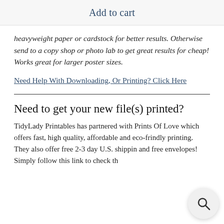Add to cart
heavyweight paper or cardstock for better results. Otherwise send to a copy shop or photo lab to get great results for cheap! Works great for larger poster sizes.
Need Help With Downloading, Or Printing? Click Here
Need to get your new file(s) printed?
TidyLady Printables has partnered with Prints Of Love which offers fast, high quality, affordable and eco-friendly printing. They also offer free 2-3 day U.S. shipping and free envelopes! Simply follow this link to check the…